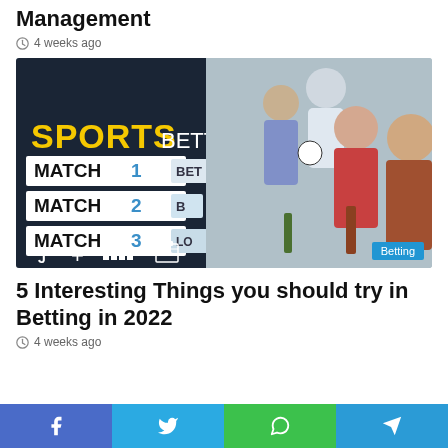5 Ways Technology Can Help with Property Management
4 weeks ago
[Figure (photo): Sports betting app on tablet showing MATCH 1, MATCH 2, MATCH 3 with a group of friends celebrating in background. Betting badge in bottom right.]
5 Interesting Things you should try in Betting in 2022
4 weeks ago
Facebook | Twitter | WhatsApp | Telegram social share bar